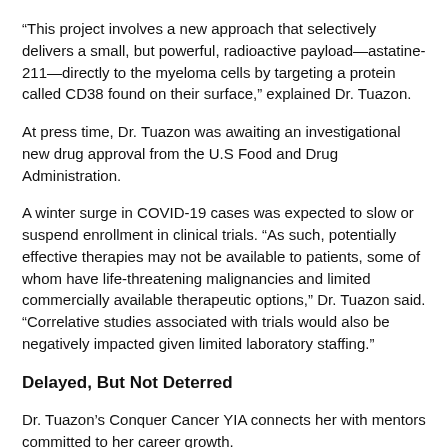“This project involves a new approach that selectively delivers a small, but powerful, radioactive payload—astatine-211—directly to the myeloma cells by targeting a protein called CD38 found on their surface,” explained Dr. Tuazon.
At press time, Dr. Tuazon was awaiting an investigational new drug approval from the U.S Food and Drug Administration.
A winter surge in COVID-19 cases was expected to slow or suspend enrollment in clinical trials. “As such, potentially effective therapies may not be available to patients, some of whom have life-threatening malignancies and limited commercially available therapeutic options,” Dr. Tuazon said. “Correlative studies associated with trials would also be negatively impacted given limited laboratory staffing.”
Delayed, But Not Deterred
Dr. Tuazon’s Conquer Cancer YIA connects her with mentors committed to her career growth.
“After completing fellowship, I believe the YIA immensely enhanced my prospects for academic jobs and helped me secure a faculty position at the Fred Hutchinson Cancer Research Center,” Dr. Tuazon said. “The YIA has been instrumental in allowing me to